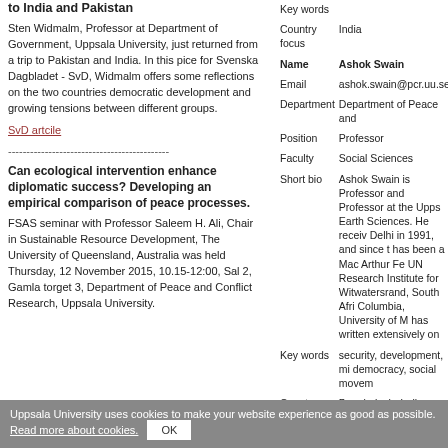to India and Pakistan
Sten Widmalm, Professor at Department of Government, Uppsala University, just returned from a trip to Pakistan and India. In this pice for Svenska Dagbladet - SvD, Widmalm offers some reflections on the two countries democratic development and growing tensions between different groups.
SvD artcile
--------------------------------------------
Can ecological intervention enhance diplomatic success? Developing an empirical comparison of peace processes.
FSAS seminar with Professor Saleem H. Ali, Chair in Sustainable Resource Development, The University of Queensland, Australia was held Thursday, 12 November 2015, 10.15-12:00, Sal 2, Gamla torget 3, Department of Peace and Conflict Research, Uppsala University.
| Field | Value |
| --- | --- |
| Key words |  |
| Country focus | India |
| Name | Ashok Swain |
| Email | ashok.swain@pcr.uu.se |
| Department | Department of Peace and... |
| Position | Professor |
| Faculty | Social Sciences |
| Short bio | Ashok Swain is Professor and Professor at the Uppsala Earth Sciences. He received Delhi in 1991, and since then has been a Mac Arthur Fe... UN Research Institute for... Witwatersrand, South Africa Columbia, University of M... has written extensively on... |
| Key words | security, development, mi... democracy, social movem... |
| Country focus | Bangladesh, India, Nepal... |
Uppsala University uses cookies to make your website experience as good as possible. Read more about cookies.